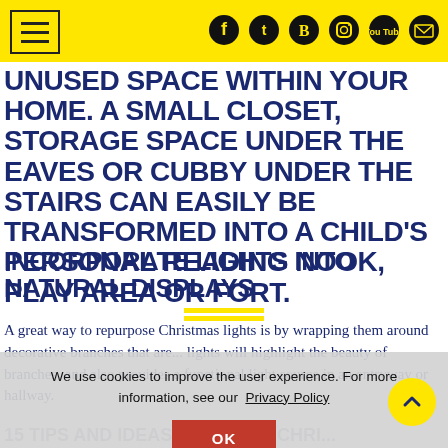Header bar with hamburger menu and social icons (Facebook, Twitter, Blogger, Instagram, YouTube, Email)
UNUSED SPACE WITHIN YOUR HOME. A SMALL CLOSET, STORAGE SPACE UNDER THE EAVES OR CUBBY UNDER THE STAIRS CAN EASILY BE TRANSFORMED INTO A CHILD'S PERSONAL READING NOOK, PLAY AREA OR FORT.
INCORPORATE LIGHTS INTO NATURAL DISPLAYS
A great way to repurpose Christmas lights is by wrapping them around decorative branches that are... lights will highlight the beauty of branches, and also provides a functional light source in an entryway or hallway.
We use cookies to improve the user experience. For more information, see our Privacy Policy